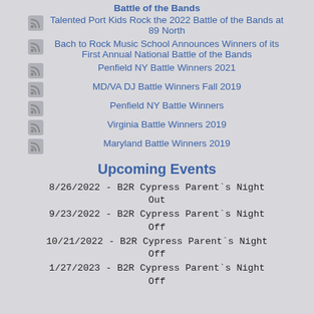Battle of the Bands
Talented Port Kids Rock the 2022 Battle of the Bands at 89 North
Bach to Rock Music School Announces Winners of its First Annual National Battle of the Bands
Penfield NY Battle Winners 2021
MD/VA DJ Battle Winners Fall 2019
Penfield NY Battle Winners
Virginia Battle Winners 2019
Maryland Battle Winners 2019
Upcoming Events
8/26/2022 - B2R Cypress Parent's Night Out
9/23/2022 - B2R Cypress Parent's Night Off
10/21/2022 - B2R Cypress Parent's Night Off
1/27/2023 - B2R Cypress Parent's Night Off